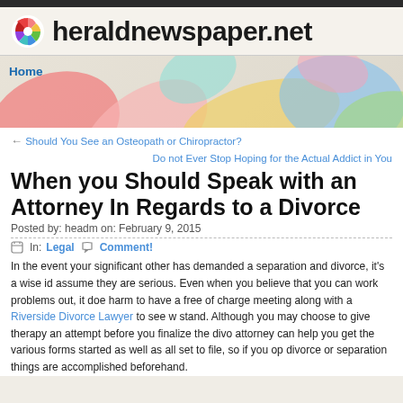heraldnewspaper.net
[Figure (screenshot): Colorful decorative banner with swirling shapes in red, pink, yellow, blue, green colors with Home navigation link]
← Should You See an Osteopath or Chiropractor?
Do not Ever Stop Hoping for the Actual Addict in You
When you Should Speak with an Attorney In Regards to a Divorce
Posted by: headm on: February 9, 2015
In: Legal  Comment!
In the event your significant other has demanded a separation and divorce, it's a wise id assume they are serious. Even when you believe that you can work problems out, it doe harm to have a free of charge meeting along with a Riverside Divorce Lawyer to see w stand. Although you may choose to give therapy an attempt before you finalize the divo attorney can help you get the various forms started as well as all set to file, so if you op divorce or separation things are accomplished beforehand.